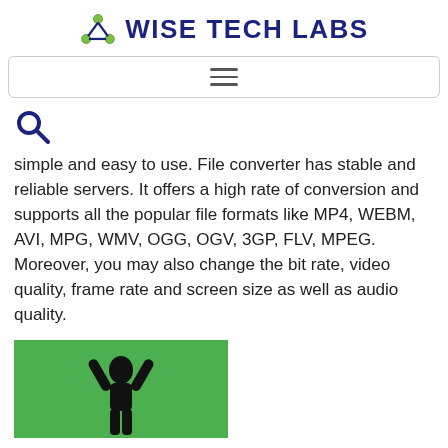WISE TECH LABS
[Figure (logo): Wise Tech Labs logo with green atom/molecule icon and dark blue bold text]
[Figure (screenshot): Navigation bar with hamburger menu icon (three horizontal lines)]
[Figure (screenshot): Search icon (magnifying glass)]
simple and easy to use. File converter has stable and reliable servers. It offers a high rate of conversion and supports all the popular file formats like MP4, WEBM, AVI, MPG, WMV, OGG, OGV, 3GP, FLV, MPEG. Moreover, you may also change the bit rate, video quality, frame rate and screen size as well as audio quality.
[Figure (photo): A silhouette of a person with arms raised in celebration against a green background]